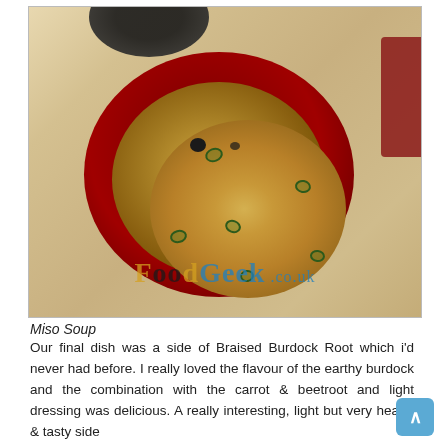[Figure (photo): A red lacquered bowl of miso soup with green onion slices floating on the surface, placed on a light wooden table. A dark bowl is partially visible at the top, and a red napkin is visible at the top right. FoodGeek.co.uk watermark overlaid on the image.]
Miso Soup
Our final dish was a side of Braised Burdock Root which i'd never had before. I really loved the flavour of the earthy burdock and the combination with the carrot & beetroot and light dressing was delicious. A really interesting, light but very hearty & tasty side